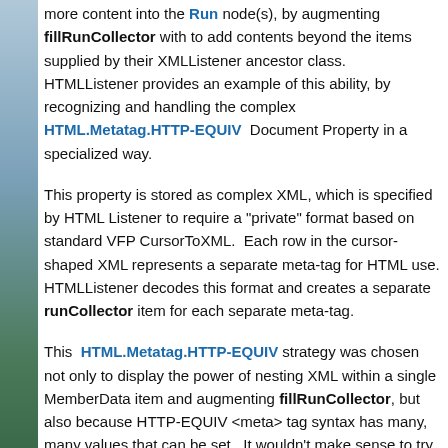more content into the Run node(s), by augmenting fillRunCollector with to add contents beyond the items supplied by their XMLListener ancestor class. HTMLListener provides an example of this ability, by recognizing and handling the complex HTML.Metatag.HTTP-EQUIV Document Property in a specialized way.
This property is stored as complex XML, which is specified by HTML Listener to require a "private" format based on standard VFP CursorToXML. Each row in the cursor-shaped XML represents a separate meta-tag for HTML use. HTMLListener decodes this format and creates a separate runCollector item for each separate meta-tag.
This HTML.Metatag.HTTP-EQUIV strategy was chosen not only to display the power of nesting XML within a single MemberData item and augmenting fillRunCollector, but also because HTTP-EQUIV <meta> tag syntax has many, many values that can be set. It wouldn't make sense to try to create a separate Advanced Property on the Document level for each possible HTTP-EQUIV setting that…